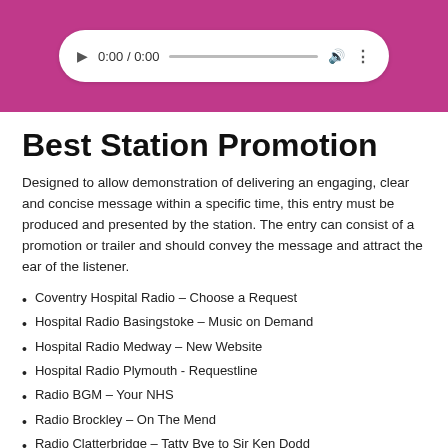[Figure (screenshot): Pink banner with an embedded audio player widget showing play button, 0:00 / 0:00 timestamp, progress bar, volume icon, and more options icon on a white rounded pill background.]
Best Station Promotion
Designed to allow demonstration of delivering an engaging, clear and concise message within a specific time, this entry must be produced and presented by the station. The entry can consist of a promotion or trailer and should convey the message and attract the ear of the listener.
Coventry Hospital Radio – Choose a Request
Hospital Radio Basingstoke – Music on Demand
Hospital Radio Medway – New Website
Hospital Radio Plymouth - Requestline
Radio BGM – Your NHS
Radio Brockley – On The Mend
Radio Clatterbridge – Tatty Bye to Sir Ken Dodd
Radio Glamorgan – We Are Radio Glamorgan